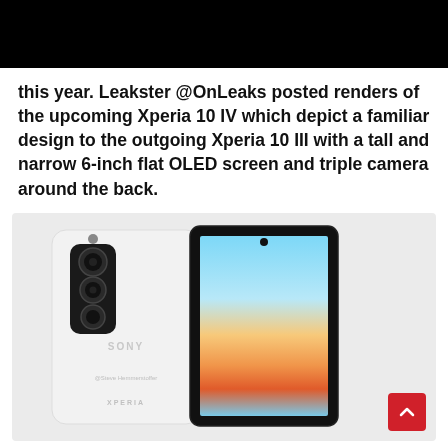this year. Leakster @OnLeaks posted renders of the upcoming Xperia 10 IV which depict a familiar design to the outgoing Xperia 10 III with a tall and narrow 6-inch flat OLED screen and triple camera around the back.
[Figure (photo): Render of Sony Xperia 10 IV showing the back of the phone in white with triple camera module and SONY branding, alongside the front view displaying a colorful sunset wallpaper on the OLED screen.]